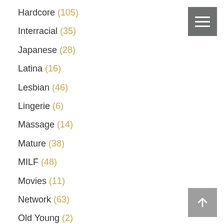Hardcore (105)
Interracial (35)
Japanese (28)
Latina (16)
Lesbian (46)
Lingerie (6)
Massage (14)
Mature (38)
MILF (48)
Movies (11)
Network (63)
Old Young (2)
Orgy (8)